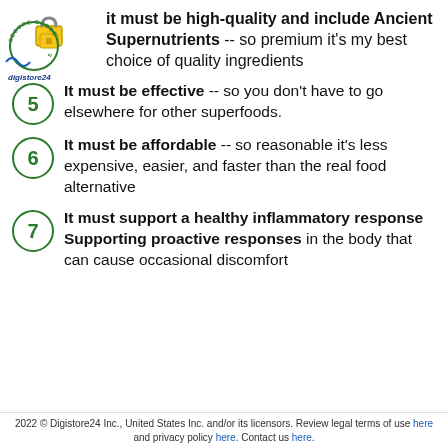[Figure (logo): Digistore24 secure order logo with padlock icon in top-left corner]
It must be high-quality and include Ancient Supernutrients -- so premium it's my best choice of quality ingredients
5 - It must be effective -- so you don't have to go elsewhere for other superfoods.
6 - It must be affordable -- so reasonable it's less expensive, easier, and faster than the real food alternative
7 - It must support a healthy inflammatory response Supporting proactive responses in the body that can cause occasional discomfort
2022 © Digistore24 Inc., United States Inc. and/or its licensors. Review legal terms of use here and privacy policy here. Contact us here.